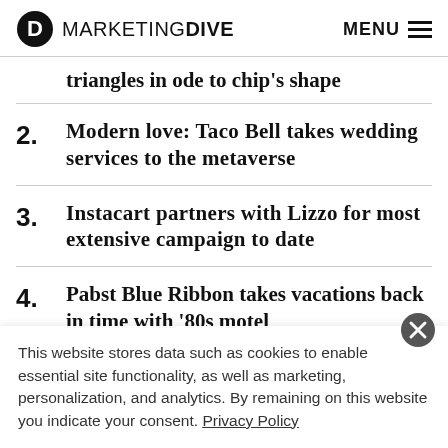MARKETING DIVE   MENU
triangles in ode to chip's shape
2. Modern love: Taco Bell takes wedding services to the metaverse
3. Instacart partners with Lizzo for most extensive campaign to date
4. Pabst Blue Ribbon takes vacations back in time with '80s motel
This website stores data such as cookies to enable essential site functionality, as well as marketing, personalization, and analytics. By remaining on this website you indicate your consent. Privacy Policy